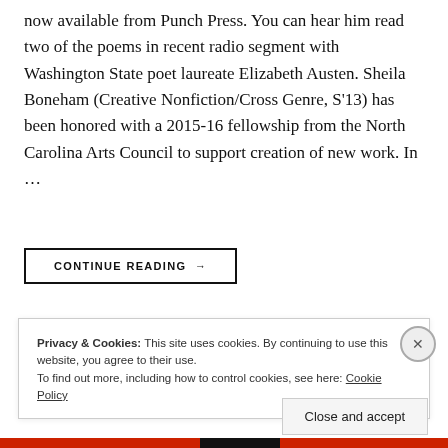now available from Punch Press. You can hear him read two of the poems in recent radio segment with Washington State poet laureate Elizabeth Austen. Sheila Boneham (Creative Nonfiction/Cross Genre, S'13) has been honored with a 2015-16 fellowship from the North Carolina Arts Council to support creation of new work. In ...
CONTINUE READING →
Privacy & Cookies: This site uses cookies. By continuing to use this website, you agree to their use.
To find out more, including how to control cookies, see here: Cookie Policy
Close and accept